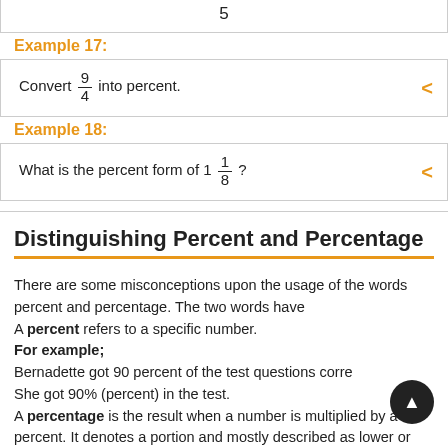Example 17:
Example 18:
Distinguishing Percent and Percentage
There are some misconceptions upon the usage of the words percent and percentage. The two words have
A percent refers to a specific number.
For example;
Bernadette got 90 percent of the test questions correctly. She got 90% (percent) in the test.
A percentage is the result when a number is multiplied by a percent. It denotes a portion and mostly described as lower or